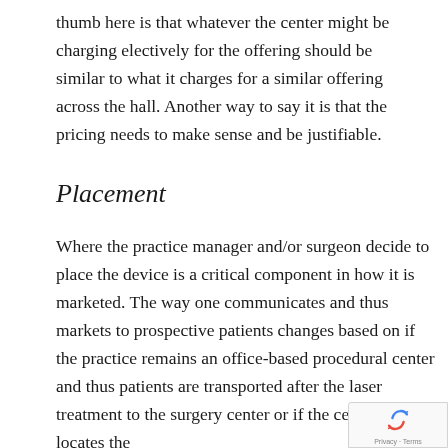thumb here is that whatever the center might be charging electively for the offering should be similar to what it charges for a similar offering across the hall. Another way to say it is that the pricing needs to make sense and be justifiable.
Placement
Where the practice manager and/or surgeon decide to place the device is a critical component in how it is marketed. The way one communicates and thus markets to prospective patients changes based on if the practice remains an office-based procedural center and thus patients are transported after the laser treatment to the surgery center or if the center co-locates the